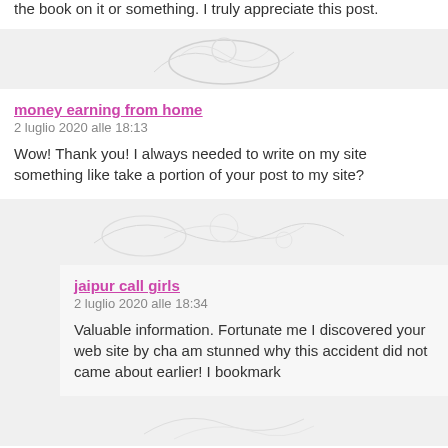the book on it or something. I truly appreciate this post.
money earning from home
2 luglio 2020 alle 18:13
Wow! Thank you! I always needed to write on my site something like take a portion of your post to my site?
jaipur call girls
2 luglio 2020 alle 18:34
Valuable information. Fortunate me I discovered your web site by cha am stunned why this accident did not came about earlier! I bookmark
Porn
2 luglio 2020 alle 22:55
Saved as a favorite, I like your blog!
Derma Renew reviews